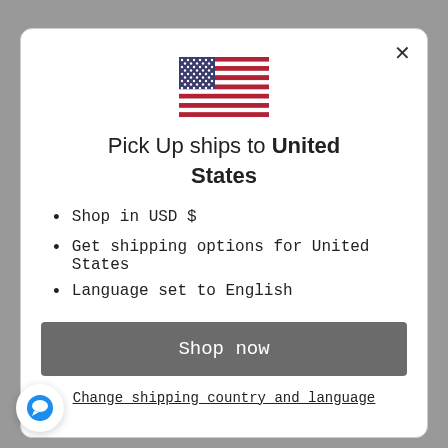[Figure (illustration): US flag emoji/illustration centered in modal]
Pick Up ships to United States
Shop in USD $
Get shipping options for United States
Language set to English
Shop now
Change shipping country and language